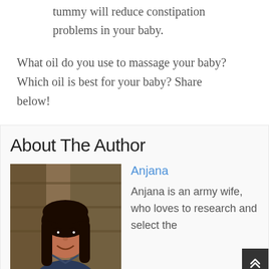tummy will reduce constipation problems in your baby.
What oil do you use to massage your baby? Which oil is best for your baby? Share below!
About The Author
[Figure (photo): Photo of Anjana, a woman with long dark hair, smiling, outdoors with wooden fence in background]
Anjana
Anjana is an army wife, who loves to research and select the